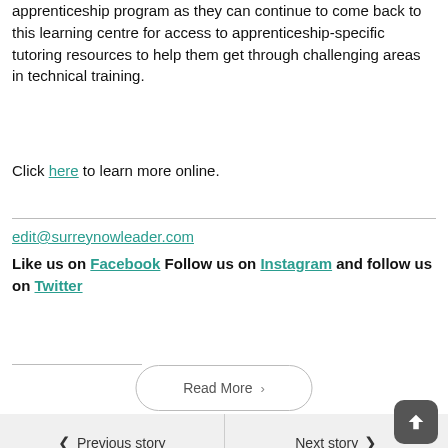apprenticeship program as they can continue to come back to this learning centre for access to apprenticeship-specific tutoring resources to help them get through challenging areas in technical training.
Click here to learn more online.
edit@surreynowleader.com
Like us on Facebook Follow us on Instagram and follow us on Twitter